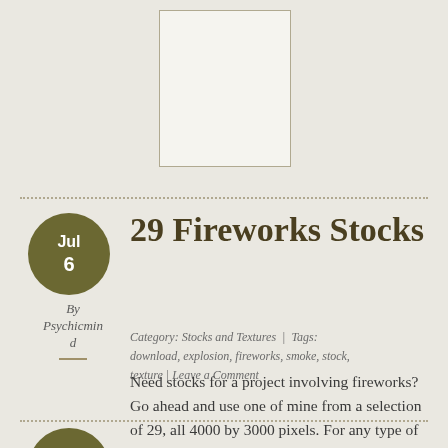[Figure (other): White rectangular image placeholder centered at top of page]
29 Fireworks Stocks
By Psychicmind
Category: Stocks and Textures | Tags: download, explosion, fireworks, smoke, stock, texture | Leave a Comment
Need stocks for a project involving fireworks? Go ahead and use one of mine from a selection of 29, all 4000 by 3000 pixels. For any type of use.